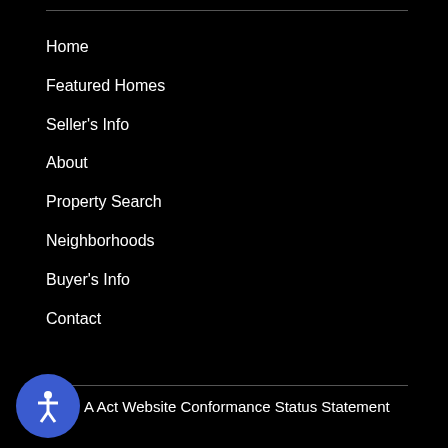Home
Featured Homes
Seller's Info
About
Property Search
Neighborhoods
Buyer's Info
Contact
A Act Website Conformance Status Statement